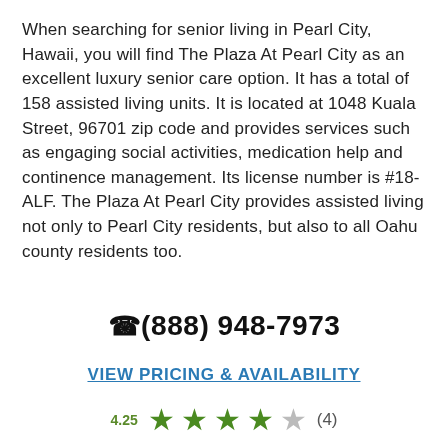When searching for senior living in Pearl City, Hawaii, you will find The Plaza At Pearl City as an excellent luxury senior care option. It has a total of 158 assisted living units. It is located at 1048 Kuala Street, 96701 zip code and provides services such as engaging social activities, medication help and continence management. Its license number is #18-ALF. The Plaza At Pearl City provides assisted living not only to Pearl City residents, but also to all Oahu county residents too.
(888) 948-7973
VIEW PRICING & AVAILABILITY
4.25 ★★★★☆ (4)